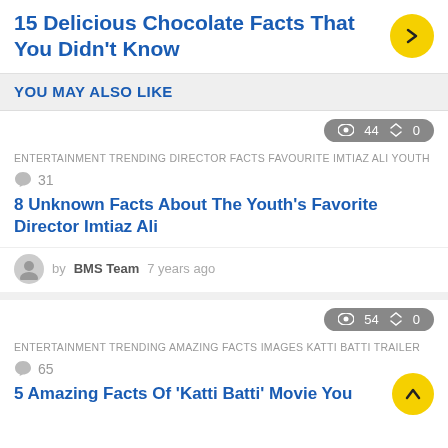15 Delicious Chocolate Facts That You Didn't Know
YOU MAY ALSO LIKE
👁 44  ↑↓ 0
ENTERTAINMENT  TRENDING  DIRECTOR  FACTS  FAVOURITE  IMTIAZ ALI  YOUTH
💬 31
8 Unknown Facts About The Youth's Favorite Director Imtiaz Ali
by BMS Team 7 years ago
👁 54  ↑↓ 0
ENTERTAINMENT  TRENDING  AMAZING  FACTS  IMAGES  KATTI BATTI  TRAILER
💬 65
5 Amazing Facts Of 'Katti Batti' Movie You